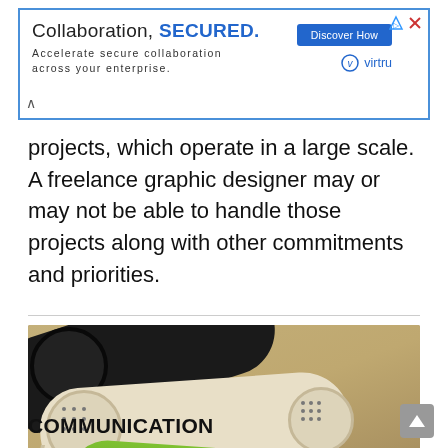[Figure (screenshot): Advertisement banner for Virtru: 'Collaboration, SECURED. Accelerate secure collaboration across your enterprise.' with a blue 'Discover How' button and Virtru logo]
projects, which operate in a large scale. A freelance graphic designer may or may not be able to handle those projects along with other commitments and priorities.
[Figure (photo): Photo of three telephone handsets (one black, one white/cream, one green) lying on sand]
COMMUNICATION